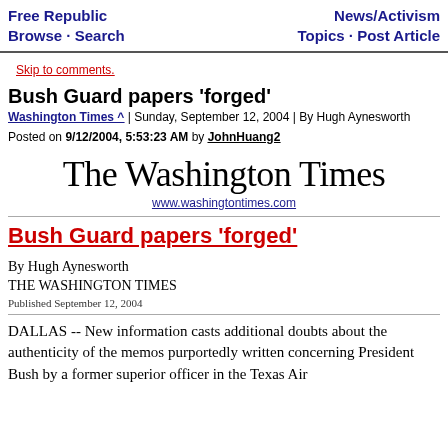Free Republic Browse · Search | News/Activism Topics · Post Article
Skip to comments.
Bush Guard papers 'forged'
Washington Times ^ | Sunday, September 12, 2004 | By Hugh Aynesworth
Posted on 9/12/2004, 5:53:23 AM by JohnHuang2
[Figure (logo): The Washington Times newspaper logo with website URL www.washingtontimes.com]
Bush Guard papers 'forged'
By Hugh Aynesworth
THE WASHINGTON TIMES
Published September 12, 2004
DALLAS -- New information casts additional doubts about the authenticity of the memos purportedly written concerning President Bush by a former superior officer in the Texas Air